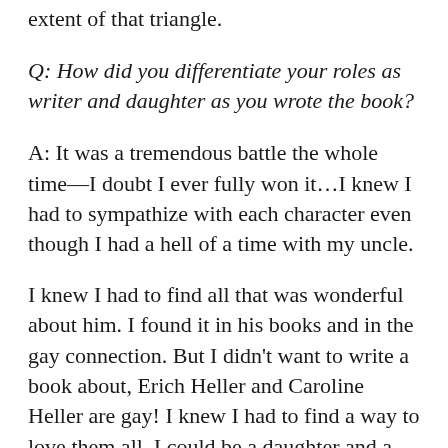extent of that triangle.
Q: How did you differentiate your roles as writer and daughter as you wrote the book?
A: It was a tremendous battle the whole time—I doubt I ever fully won it…I knew I had to sympathize with each character even though I had a hell of a time with my uncle.
I knew I had to find all that was wonderful about him. I found it in his books and in the gay connection. But I didn't want to write a book about, Erich Heller and Caroline Heller are gay! I knew I had to find a way to love them all. I could be a daughter and a niece in finding that love, but the writer in me knew I had to do that.